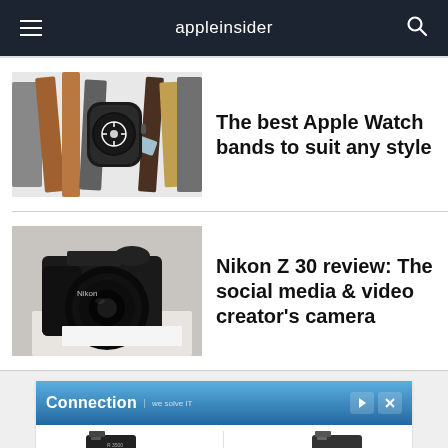appleinsider
[Figure (photo): Various Apple Watch bands displayed on a white background, with an Apple Watch showing a steering wheel face]
The best Apple Watch bands to suit any style
[Figure (photo): Nikon Z 30 mirrorless camera on a white surface, black body with lens attached]
Nikon Z 30 review: The social media & video creator's camera
[Figure (screenshot): Connection IT advertisement banner with two battery products priced at $98.94 and $70.62]